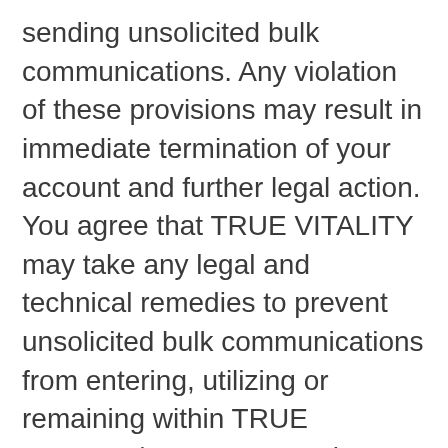sending unsolicited bulk communications. Any violation of these provisions may result in immediate termination of your account and further legal action. You agree that TRUE VITALITY may take any legal and technical remedies to prevent unsolicited bulk communications from entering, utilizing or remaining within TRUE VITALITY’s networks, servers etc.